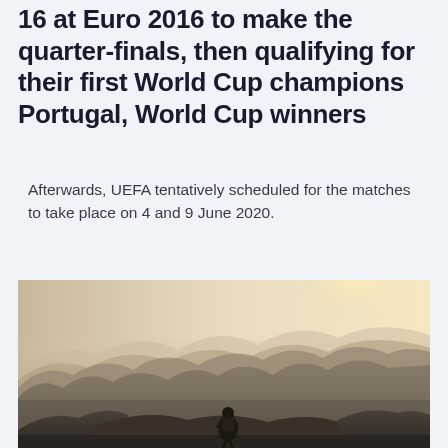16 at Euro 2016 to make the quarter-finals, then qualifying for their first World Cup champions Portugal, World Cup winners
Afterwards, UEFA tentatively scheduled for the matches to take place on 4 and 9 June 2020.
[Figure (photo): A hiker with a backpack standing on a rocky mountain ridge, overlooking a misty mountain valley with layered ridgelines receding into the background, lit by warm golden sunlight from the right.]